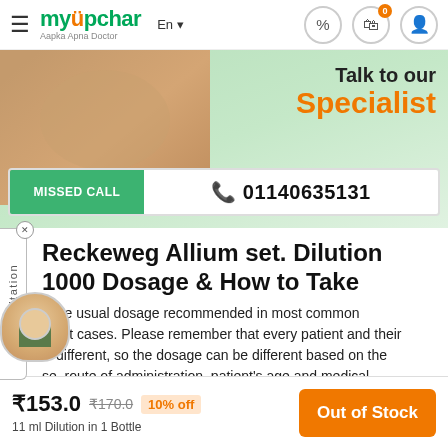myUpchar — Aapka Apna Doctor
[Figure (photo): Promotional banner showing hands and text 'Talk to our Specialist' with a 'MISSED CALL 01140635131' bar at the bottom]
Reckeweg Allium set. Dilution 1000 Dosage & How to Take
s the usual dosage recommended in most common ment cases. Please remember that every patient and their is different, so the dosage can be different based on the se, route of administration, patient's age and medical history.
₹153.0  ₹170.0  10% off
11 ml Dilution in 1 Bottle
Out of Stock